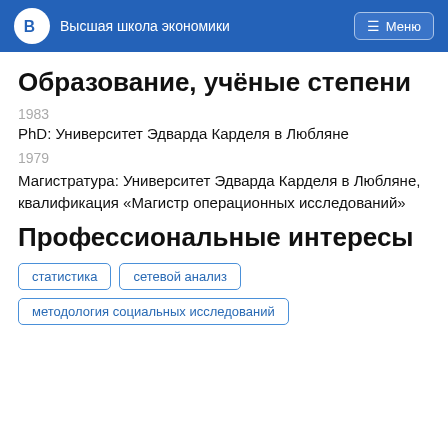Высшая школа экономики
Образование, учёные степени
1983
PhD: Университет Эдварда Карделя в Любляне
1979
Магистратура: Университет Эдварда Карделя в Любляне, квалификация «Магистр операционных исследований»
Профессиональные интересы
статистика
сетевой анализ
методология социальных исследований